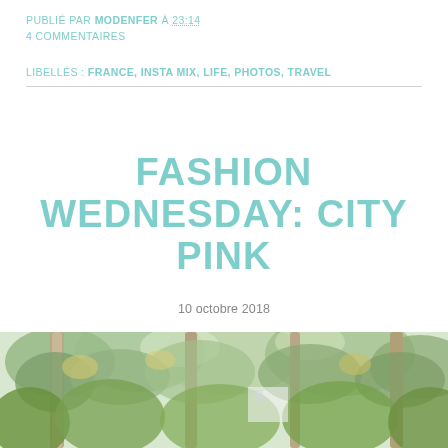PUBLIÉ PAR MODENFER À 23:14
4 COMMENTAIRES
LIBELLÉS : FRANCE, INSTA MIX, LIFE, PHOTOS, TRAVEL
FASHION WEDNESDAY: CITY PINK
10 octobre 2018
[Figure (photo): Outdoor photo of trees with green and yellow leaves, branches visible against a light sky, taken in a park or garden setting]